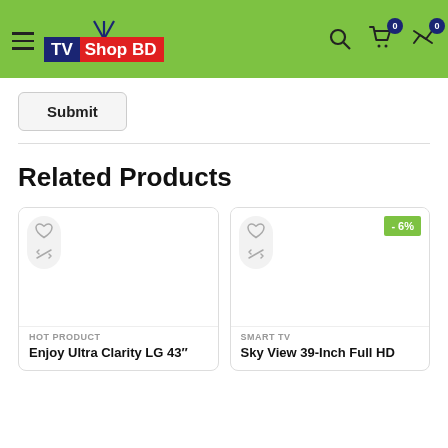[Figure (screenshot): TV Shop BD website header with green background, hamburger menu, TV Shop BD logo, search icon, cart with 0 badge, and compare with 0 badge]
[Figure (other): Submit button with rounded rectangle border]
Related Products
[Figure (other): Product card 1: HOT PRODUCT category, Enjoy Ultra Clarity LG 43" with heart and compare icons]
[Figure (other): Product card 2: SMART TV category, Sky View 39-Inch Full HD with -6% discount badge, heart and compare icons]